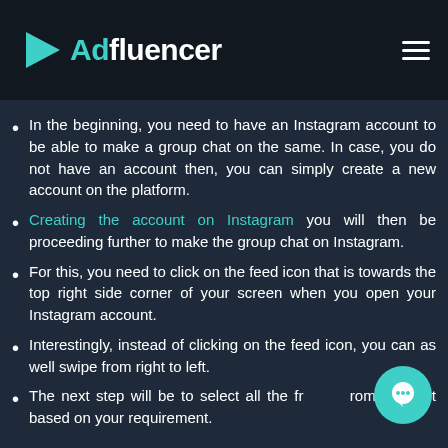Adfluencer
In the beginning, you need to have an Instagram account to be able to make a group chat on the same. In case, you do not have an account then, you can simply create a new account on the platform.
Creating the account on Instagram you will then be proceeding further to make the group chat on Instagram.
For this, you need to click on the feed icon that is towards the top right side corner of your screen when you open your Instagram account.
Interestingly, instead of clicking on the feed icon, you can as well swipe from right to left.
The next step will be to select all the fr...rom your list based on your requirement.